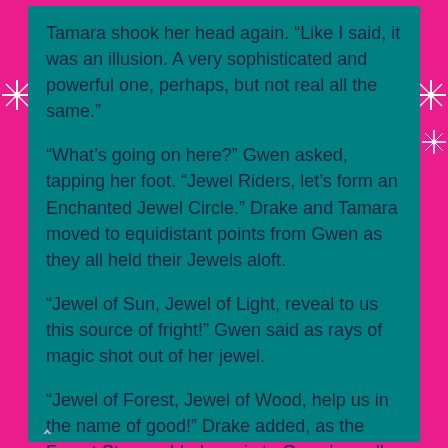Tamara shook her head again.  “Like I said, it was an illusion.  A very sophisticated and powerful one, perhaps, but not real all the same.”
“What’s going on here?” Gwen asked, tapping her foot.  “Jewel Riders, let’s form an Enchanted Jewel Circle.”  Drake and Tamara moved to equidistant points from Gwen as they all held their Jewels aloft.
“Jewel of Sun, Jewel of Light, reveal to us this source of fright!” Gwen said as rays of magic shot out of her jewel.
“Jewel of Forest, Jewel of Wood, help us in the name of good!” Drake added, as the Forest Stone added magic to Gwen’s spell.